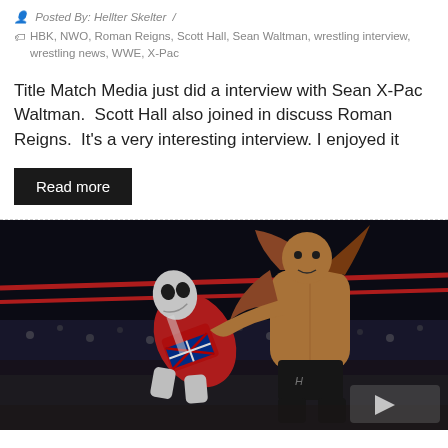Posted By: Hellter Skelter /
HBK, NWO, Roman Reigns, Scott Hall, Sean Waltman, wrestling interview, wrestling news, WWE, X-Pac
Title Match Media just did a interview with Sean X-Pac Waltman.  Scott Hall also joined in discuss Roman Reigns.  It's a very interesting interview. I enjoyed it
Read more
[Figure (photo): Two professional wrestlers in a wrestling ring. One wrestler wearing red and white trunks with a Union Jack design and a mask is being held up by another wrestler with long hair. Red ropes visible in the background with a crowd.]